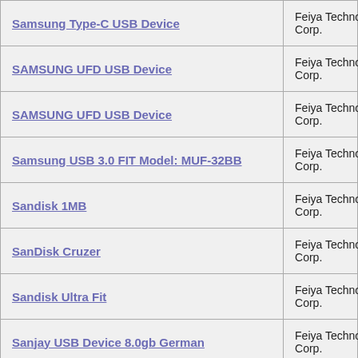| Device Name | Manufacturer |
| --- | --- |
| Samsung Type-C USB Device | Feiya Technology Corp. |
| SAMSUNG UFD USB Device | Feiya Technology Corp. |
| SAMSUNG UFD USB Device | Feiya Technology Corp. |
| Samsung USB 3.0 FIT Model: MUF-32BB | Feiya Technology Corp. |
| Sandisk 1MB | Feiya Technology Corp. |
| SanDisk Cruzer | Feiya Technology Corp. |
| Sandisk Ultra Fit | Feiya Technology Corp. |
| Sanjay USB Device 8.0gb German | Feiya Technology Corp. |
| Schering Plough USB Device | Feiya Technology Corp. |
| Schneide 8GB USB 2.0 Device | Feiya Technology Corp. |
| SEITEC USB Device | Feiya Technology Corp. |